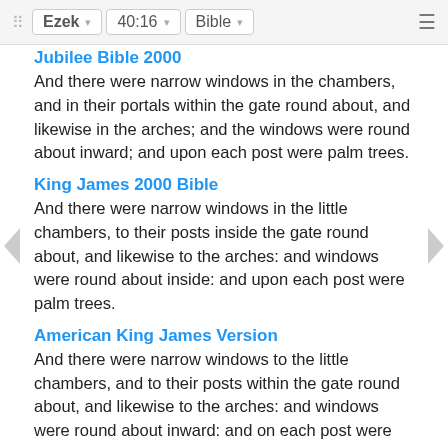Ezek 40:16 Bible
Jubilee Bible 2000
And there were narrow windows in the chambers, and in their portals within the gate round about, and likewise in the arches; and the windows were round about inward; and upon each post were palm trees.
King James 2000 Bible
And there were narrow windows in the little chambers, to their posts inside the gate round about, and likewise to the arches: and windows were round about inside: and upon each post were palm trees.
American King James Version
And there were narrow windows to the little chambers, and to their posts within the gate round about, and likewise to the arches: and windows were round about inward: and on each post were palm trees.